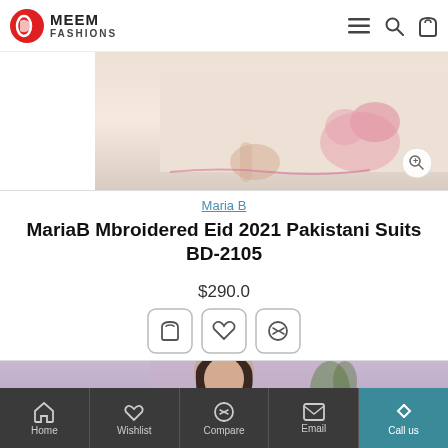MEEM FASHIONS
[Figure (photo): Bottom portion of a female model's outfit showing an embroidered Pakistani suit with pink floral accents on a light background]
Maria B
MariaB Mbroidered Eid 2021 Pakistani Suits BD-2105
$290.0
[Figure (photo): Female model wearing a dark navy Pakistani suit, photographed against a pink/mauve background with greenery]
Home  Wishlist  Compare  Email  Call us